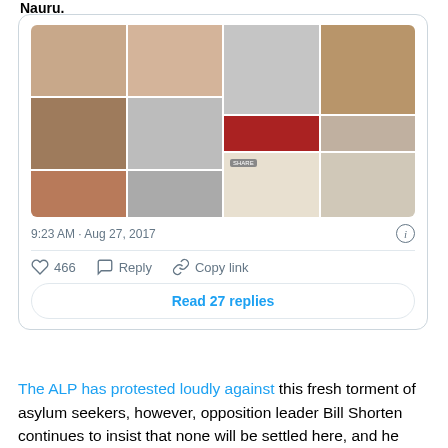Nauru.
[Figure (photo): Collage of multiple baby photos arranged in a grid within a tweet card]
9:23 AM · Aug 27, 2017
♡ 466   Reply   Copy link
Read 27 replies
The ALP has protested loudly against this fresh torment of asylum seekers, however, opposition leader Bill Shorten continues to insist that none will be settled here, and he